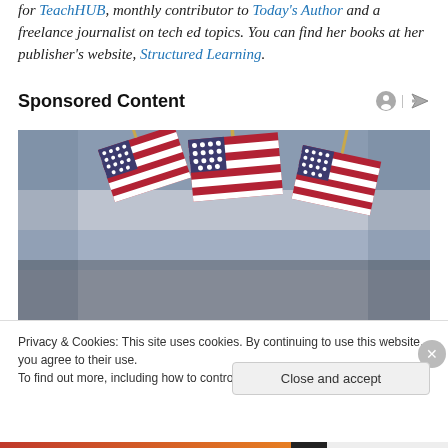for TeachHUB, monthly contributor to Today's Author and a freelance journalist on tech ed topics. You can find her books at her publisher's website, Structured Learning.
Sponsored Content
[Figure (photo): Cluster of small American flags with gold tips displayed in a store setting with blurred shelves in the background.]
Privacy & Cookies: This site uses cookies. By continuing to use this website, you agree to their use.
To find out more, including how to control cookies, see here: Cookie Policy